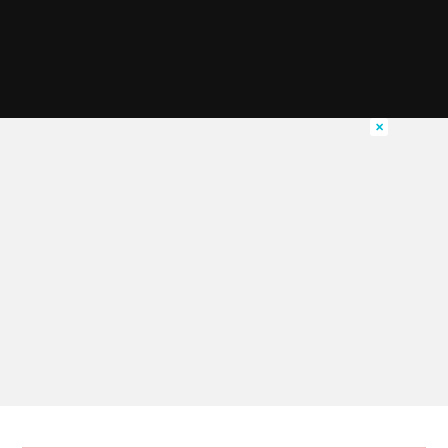[Figure (screenshot): MtlBlog advertisement banner on an orange background with the MtlBlog logo (stylized M/Z), text 'Follow MtlBlog on Tik Tok', and a white 'See Here' button. A small close (X) button appears in the top right corner of the banner. The rest of the page is a light gray background with a white strip at the bottom.]